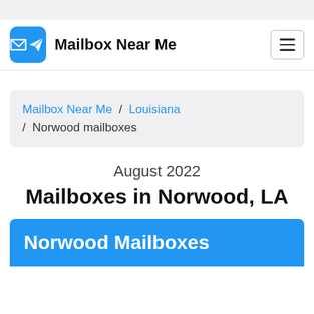Mailbox Near Me
Mailbox Near Me / Louisiana / Norwood mailboxes
August 2022
Mailboxes in Norwood, LA
Norwood Mailboxes